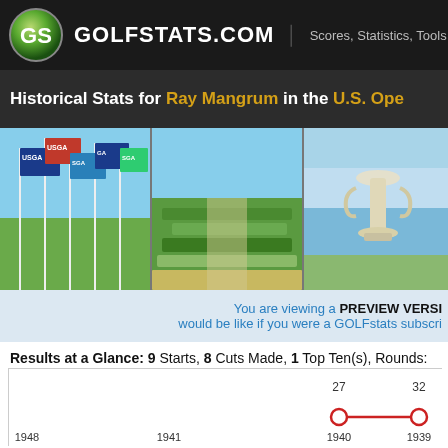GOLFSTATS.COM | Scores, Statistics, Tools
Historical Stats for Ray Mangrum in the U.S. Open
[Figure (photo): Three photos: USGA flags on poles, a golf course fairway, and the US Open trophy with water background]
You are viewing a PREVIEW VERSION would be like if you were a GOLFstats subscriber
Results at a Glance: 9 Starts, 8 Cuts Made, 1 Top Ten(s), Rounds: 32
[Figure (line-chart): Scores over years]